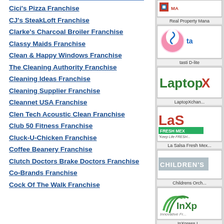Cici's Pizza Franchise
CJ's SteakLoft Franchise
Clarke's Charcoal Broiler Franchise
Classy Maids Franchise
Clean & Happy Windows Franchise
The Cleaning Authority Franchise
Cleaning Ideas Franchise
Cleaning Supplier Franchise
Cleannet USA Franchise
Clen Tech Acoustic Clean Franchise
Club 50 Fitness Franchise
Cluck-U-Chicken Franchise
Coffee Beanery Franchise
Clutch Doctors Brake Doctors Franchise
Co-Brands Franchise
Cock Of The Walk Franchise
[Figure (logo): Real Property Management logo (partial, top right sidebar)]
Real Property Mana...
[Figure (logo): tasti D-lite logo with ice cream swirl icon (right sidebar)]
tasti D-lite
[Figure (logo): LaptopXchange logo (right sidebar)]
LaptopXchan...
[Figure (logo): La Salsa Fresh Mex restaurant logo (right sidebar)]
La Salsa Fresh Mex...
[Figure (logo): Childrens Orchard logo (right sidebar)]
Childrens Orch...
[Figure (logo): InXpress Innovative Freight logo (right sidebar)]
InXpress I...